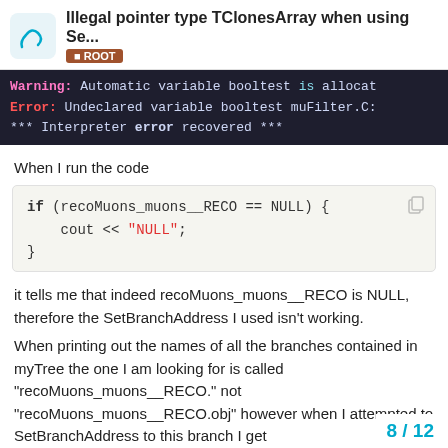Illegal pointer type TClonesArray when using Se... ROOT
Warning: Automatic variable booltest is allocat
Error: Undeclared variable booltest muFilter.C:
*** Interpreter error recovered ***
When I run the code
it tells me that indeed recoMuons_muons__RECO is NULL, therefore the SetBranchAddress I used isn't working.
When printing out the names of all the branches contained in myTree the one I am looking for is called "recoMuons_muons__RECO." not "recoMuons_muons__RECO.obj" however when I attempted to SetBranchAddress to this branch I get
8 / 12